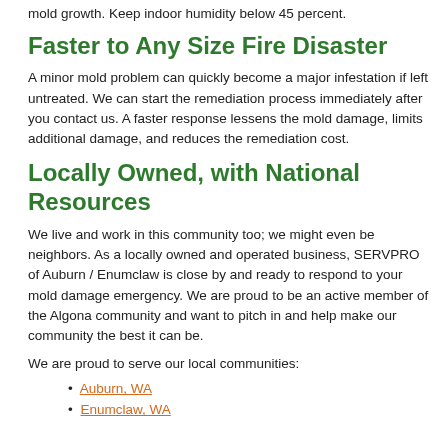mold growth. Keep indoor humidity below 45 percent.
Faster to Any Size Fire Disaster
A minor mold problem can quickly become a major infestation if left untreated. We can start the remediation process immediately after you contact us. A faster response lessens the mold damage, limits additional damage, and reduces the remediation cost.
Locally Owned, with National Resources
We live and work in this community too; we might even be neighbors. As a locally owned and operated business, SERVPRO of Auburn / Enumclaw is close by and ready to respond to your mold damage emergency. We are proud to be an active member of the Algona community and want to pitch in and help make our community the best it can be.
We are proud to serve our local communities:
• Auburn, WA
• Enumclaw, WA